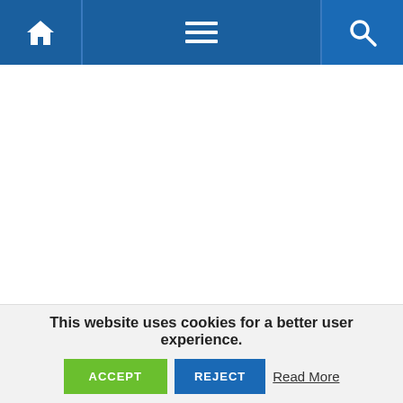Navigation bar with home icon, hamburger menu, and search icon
This website uses cookies for a better user experience.
ACCEPT   REJECT   Read More